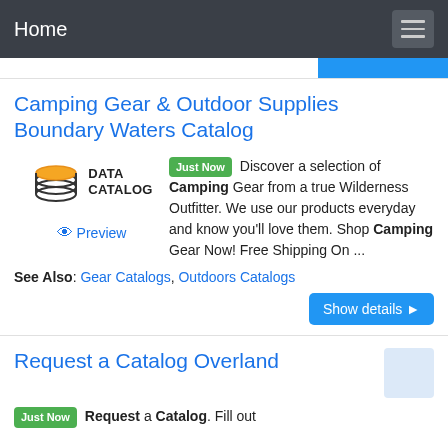Home
Camping Gear & Outdoor Supplies Boundary Waters Catalog
[Figure (logo): Data Catalog logo with stacked discs icon and text DATA CATALOG]
Just Now Discover a selection of Camping Gear from a true Wilderness Outfitter. We use our products everyday and know you'll love them. Shop Camping Gear Now! Free Shipping On ...
Preview
See Also: Gear Catalogs, Outdoors Catalogs
Request a Catalog Overland
Just Now Request a Catalog. Fill out